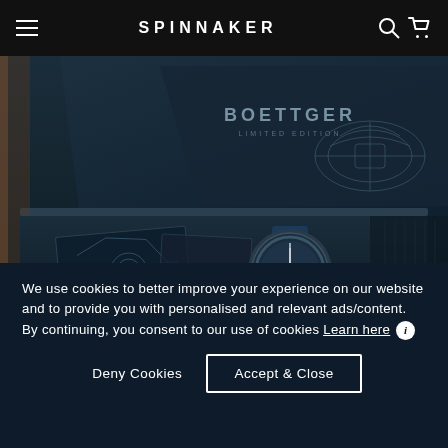SPINNAKER
[Figure (photo): Close-up of a Spinnaker Boettger Limited Edition watch box open, showing the watch, branded booklet with engineering diagrams, and the lid's interior engraving reading BOETTGER LIMITED EDITION]
We use cookies to better improve your experience on our website and to provide you with personalised and relevant ads/content. By continuing, you consent to our use of cookies Learn here ℹ
Deny Cookies    Accept & Close